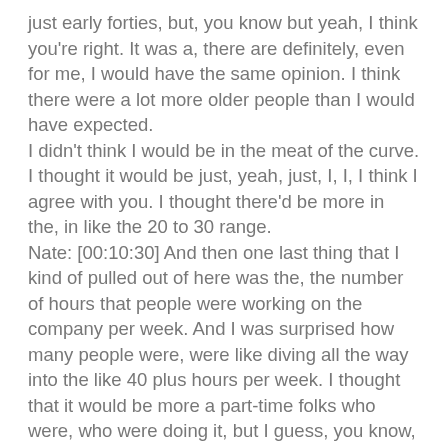just early forties, but, you know but yeah, I think you're right. It was a, there are definitely, even for me, I would have the same opinion. I think there were a lot more older people than I would have expected.
I didn't think I would be in the meat of the curve. I thought it would be just, yeah, just, I, I, I think I agree with you. I thought there'd be more in the, in like the 20 to 30 range.
Nate: [00:10:30] And then one last thing that I kind of pulled out of here was the, the number of hours that people were working on the company per week. And I was surprised how many people were, were like diving all the way into the like 40 plus hours per week. I thought that it would be more a part-time folks who were, who were doing it, but I guess, you know, maybe that's just MIS misunderstanding
Josh: [00:10:50] yeah. That's where I start to get. This is where I start to kind of, I wouldn't say question that results, but start to think a bit more about the